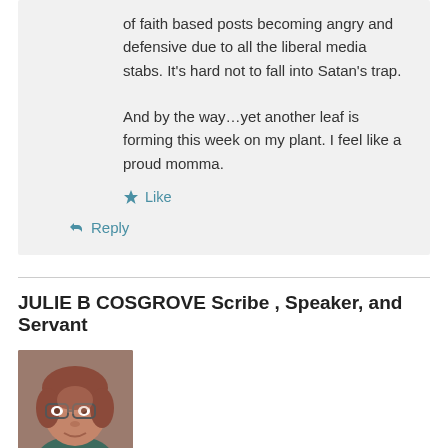of faith based posts becoming angry and defensive due to all the liberal media stabs. It's hard not to fall into Satan's trap.

And by the way…yet another leaf is forming this week on my plant. I feel like a proud momma.
Like
Reply
JULIE B COSGROVE Scribe , Speaker, and Servant
[Figure (photo): Headshot photo of Julie B Cosgrove, a woman with short reddish-brown hair and glasses, wearing a teal top]